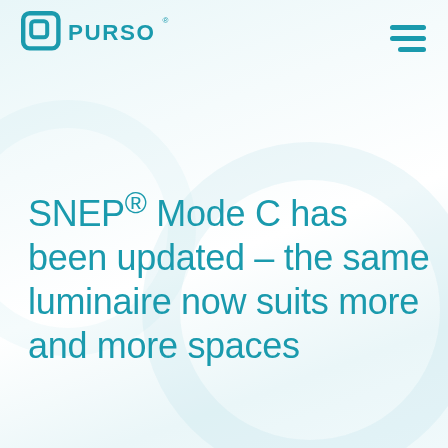PURSO logo and navigation menu
SNEP® Mode C has been updated – the same luminaire now suits more and more spaces